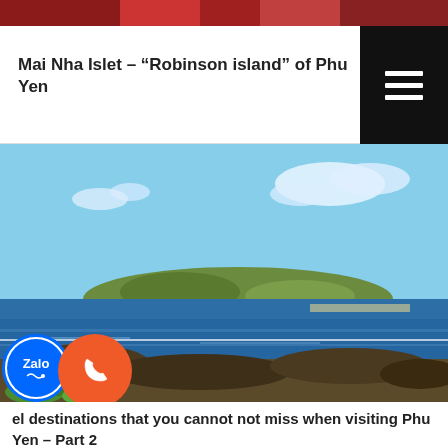[Figure (photo): Top strip of a photo showing red/colorful boat or object, partially cropped]
Mai Nha Islet – “Robinson island” of Phu Yen
[Figure (photo): Coastal landscape photo showing Mai Nha Islet across blue sea, with rocky foreground and green vegetation, blue sky with clouds]
el destinations that you cannot not miss when visiting Phu Yen – Part 2